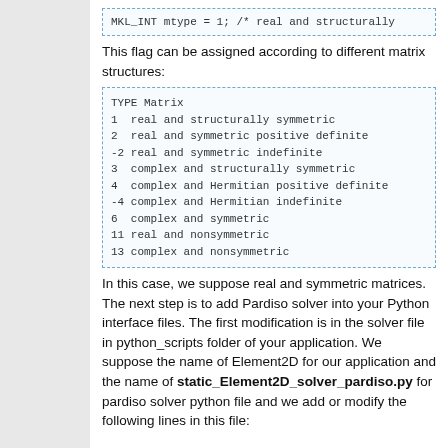[Figure (screenshot): Code box showing: MKL_INT mtype = 1; /* real and structurally]
This flag can be assigned according to different matrix structures:
[Figure (screenshot): Code box showing TYPE Matrix table with mtype values: 1 real and structurally symmetric, 2 real and symmetric positive definite, -2 real and symmetric indefinite, 3 complex and structurally symmetric, 4 complex and Hermitian positive definite, -4 complex and Hermitian indefinite, 6 complex and symmetric, 11 real and nonsymmetric, 13 complex and nonsymmetric]
In this case, we suppose real and symmetric matrices. The next step is to add Pardiso solver into your Python interface files. The first modification is in the solver file in python_scripts folder of your application. We suppose the name of Element2D for our application and the name of static_Element2D_solver_pardiso.py for pardiso solver python file and we add or modify the following lines in this file: